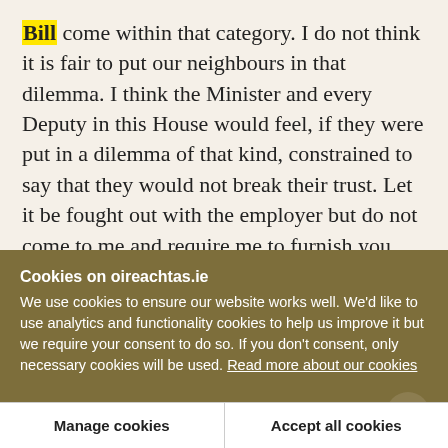Bill come within that category. I do not think it is fair to put our neighbours in that dilemma. I think the Minister and every Deputy in this House would feel, if they were put in a dilemma of that kind, constrained to say that they would not break their trust. Let it be fought out with the employer but do not come to me and require me to furnish you with confidential information that the employer gave me.
Cookies on oireachtas.ie
We use cookies to ensure our website works well. We'd like to use analytics and functionality cookies to help us improve it but we require your consent to do so. If you don't consent, only necessary cookies will be used. Read more about our cookies
Manage cookies
Accept all cookies